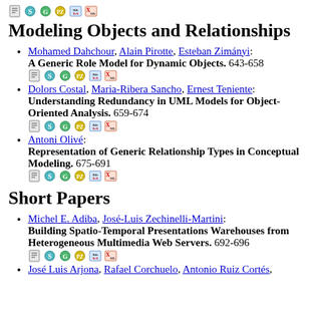[Figure (other): Row of small icon buttons (document, scholar, google, semantic, bibtex, xml) at top of page]
Modeling Objects and Relationships
Mohamed Dahchour, Alain Pirotte, Esteban Zimányi: A Generic Role Model for Dynamic Objects. 643-658
[Figure (other): Row of small icon buttons for first list item]
Dolors Costal, Maria-Ribera Sancho, Ernest Teniente: Understanding Redundancy in UML Models for Object-Oriented Analysis. 659-674
[Figure (other): Row of small icon buttons for second list item]
Antoni Olivé: Representation of Generic Relationship Types in Conceptual Modeling. 675-691
[Figure (other): Row of small icon buttons for third list item]
Short Papers
Michel E. Adiba, José-Luis Zechinelli-Martini: Building Spatio-Temporal Presentations Warehouses from Heterogeneous Multimedia Web Servers. 692-696
[Figure (other): Row of small icon buttons for fourth list item]
José Luis Arjona, Rafael Corchuelo, Antonio Ruiz Cortés,